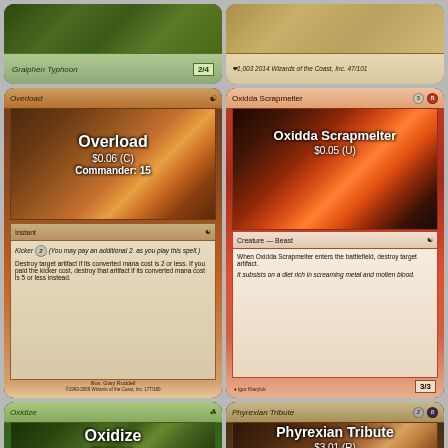[Figure (photo): Partially visible Magic: The Gathering card - green creature card showing bottom portion with power/toughness 2/4]
[Figure (photo): Partially visible Magic: The Gathering card - tan/brown card showing bottom text portion]
[Figure (photo): Magic: The Gathering card - Overload, $0.06 (C), Commander: 15, red instant card with kicker ability]
[Figure (photo): Magic: The Gathering card - Oxidda Scrapmelter, $0.05 (U), red creature Beast 3/3, destroys target artifact on entry]
[Figure (photo): Magic: The Gathering card - Oxidize, $0.14 (U), Commander: 7, green instant card]
[Figure (photo): Magic: The Gathering card - Phyrexian Tribute, $3.01 (R), brown/black sorcery card]